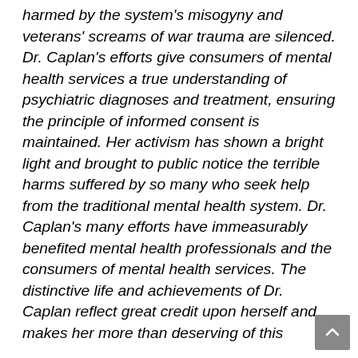harmed by the system's misogyny and veterans' screams of war trauma are silenced. Dr. Caplan's efforts give consumers of mental health services a true understanding of psychiatric diagnoses and treatment, ensuring the principle of informed consent is maintained. Her activism has shown a bright light and brought to public notice the terrible harms suffered by so many who seek help from the traditional mental health system. Dr. Caplan's many efforts have immeasurably benefited mental health professionals and the consumers of mental health services. The distinctive life and achievements of Dr. Caplan reflect great credit upon herself and makes her more than deserving of this